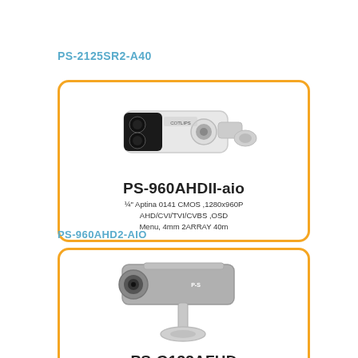PS-2125SR2-A40
[Figure (photo): White bullet security camera with two large IR LEDs on a mounting bracket, inside an orange-bordered rounded card. Product name PS-960AHDII-aio and description: ¼" Aptina 0141 CMOS ,1280x960P AHD/CVI/TVI/CVBS ,OSD Menu, 4mm 2ARRAY 40m]
PS-960AHD2-AIO
[Figure (photo): Dark grey bullet security camera on a tall mounting pole, inside an orange-bordered rounded card. Product name PS-G132AFHD and description: 1080P AHD&CVBS waterproof 1/3" SONY IMX322 2.4MP Sensor,1920x1080P ,4Array IR 40m,AHD/CVBS ,OSD Menu]